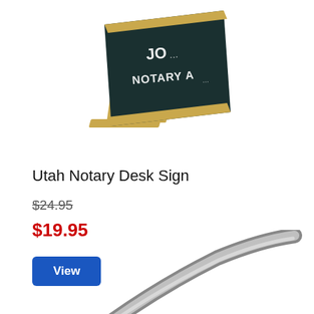[Figure (photo): A notary desk sign with gold metal frame holder and dark engraved name plate reading 'JO... NOTARY A...' partially visible]
Utah Notary Desk Sign
$24.95 (strikethrough original price)
$19.95 (sale price in red)
View (button)
[Figure (photo): Bottom portion of a notary stamp or embosser with curved metallic silver handle visible]